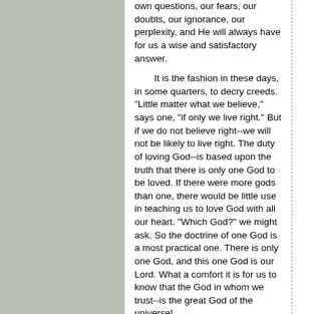own questions, our fears, our doubts, our ignorance, our perplexity, and He will always have for us a wise and satisfactory answer.
It is the fashion in these days, in some quarters, to decry creeds. "Little matter what we believe," says one, "if only we live right." But if we do not believe right--we will not be likely to live right. The duty of loving God--is based upon the truth that there is only one God to be loved. If there were more gods than one, there would be little use in teaching us to love God with all our heart. "Which God?" we might ask. So the doctrine of one God is a most practical one. There is only one God, and this one God is our Lord. What a comfort it is for us to know that the God in whom we trust--is the great God of the universe!
He is our God. The little word "our" links Him to us